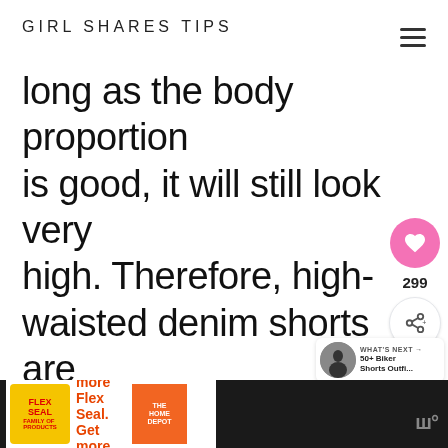GIRL SHARES TIPS
long as the body proportion is good, it will still look very high. Therefore, high-waisted denim shorts are items that create great body proportions.